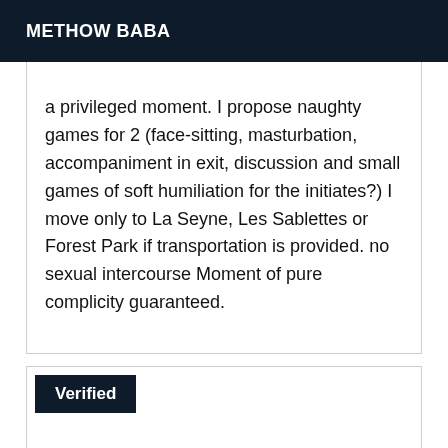METHOW BABA
a privileged moment. I propose naughty games for 2 (face-sitting, masturbation, accompaniment in exit, discussion and small games of soft humiliation for the initiates?) I move only to La Seyne, Les Sablettes or Forest Park if transportation is provided. no sexual intercourse Moment of pure complicity guaranteed.
Verified